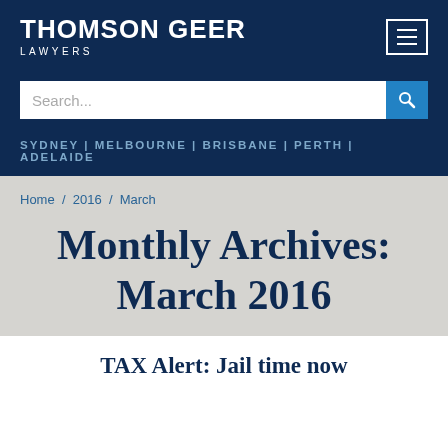[Figure (logo): Thomson Geer Lawyers logo in white on dark navy background]
Search...
SYDNEY | MELBOURNE | BRISBANE | PERTH | ADELAIDE
Home / 2016 / March
Monthly Archives: March 2016
TAX Alert: Jail time now